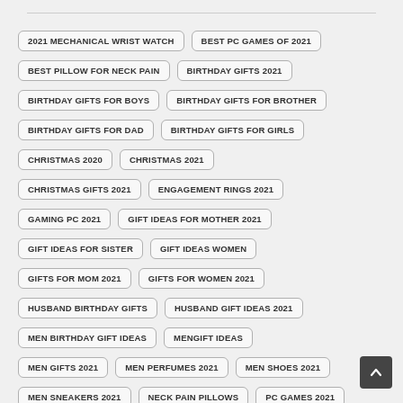2021 MECHANICAL WRIST WATCH
BEST PC GAMES OF 2021
BEST PILLOW FOR NECK PAIN
BIRTHDAY GIFTS 2021
BIRTHDAY GIFTS FOR BOYS
BIRTHDAY GIFTS FOR BROTHER
BIRTHDAY GIFTS FOR DAD
BIRTHDAY GIFTS FOR GIRLS
CHRISTMAS 2020
CHRISTMAS 2021
CHRISTMAS GIFTS 2021
ENGAGEMENT RINGS 2021
GAMING PC 2021
GIFT IDEAS FOR MOTHER 2021
GIFT IDEAS FOR SISTER
GIFT IDEAS WOMEN
GIFTS FOR MOM 2021
GIFTS FOR WOMEN 2021
HUSBAND BIRTHDAY GIFTS
HUSBAND GIFT IDEAS 2021
MEN BIRTHDAY GIFT IDEAS
MENGIFT IDEAS
MEN GIFTS 2021
MEN PERFUMES 2021
MEN SHOES 2021
MEN SNEAKERS 2021
NECK PAIN PILLOWS
PC GAMES 2021